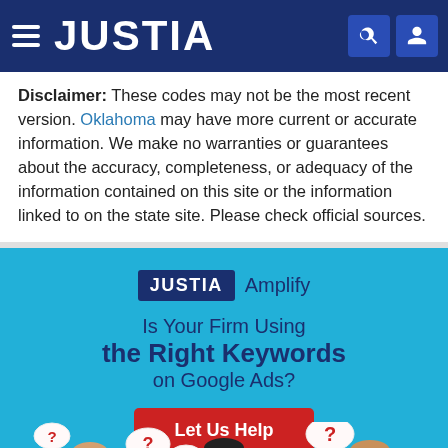JUSTIA
Disclaimer: These codes may not be the most recent version. Oklahoma may have more current or accurate information. We make no warranties or guarantees about the accuracy, completeness, or adequacy of the information contained on this site or the information linked to on the state site. Please check official sources.
[Figure (illustration): Justia Amplify advertisement banner on a light blue background. Shows JUSTIA logo in dark navy box with 'Amplify' text, tagline 'Is Your Firm Using the Right Keywords on Google Ads?', a red 'Let Us Help' button, and illustrated characters with question mark speech bubbles at the bottom.]